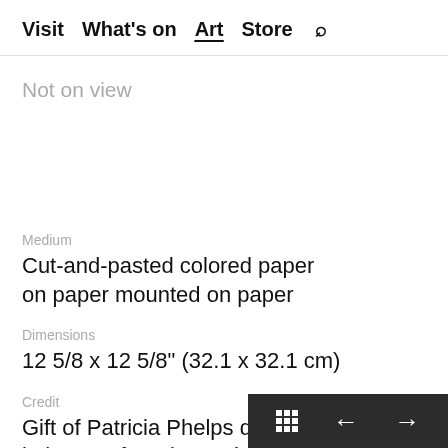Visit  What's on  Art  Store  🔍
Not on view
Medium
Cut-and-pasted colored paper on paper mounted on paper
Dimensions
12 5/8 x 12 5/8" (32.1 x 32.1 cm)
Credit
Gift of Patricia Phelps de Cisneros in honor of Marie-Josée Kravis